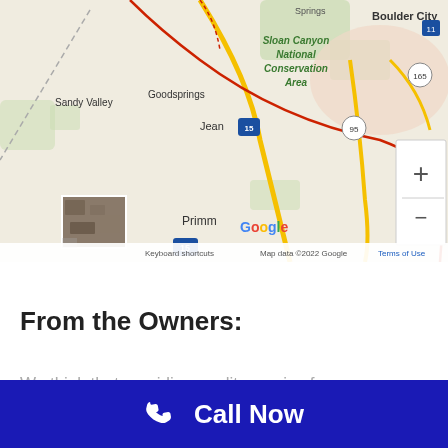[Figure (map): Google Map screenshot showing the area around Primm, Nevada. Visible labels include: Springs, Boulder City, Sloan Canyon National Conservation Area, Sandy Valley, Goodsprings, Jean, Primm. Roads include Interstate 15, Route 95, Route 165. Map controls (zoom in/out) visible. Bottom bar shows: Keyboard shortcuts | Map data ©2022 Google | Terms of Use. Small satellite thumbnail in lower-left corner. Google logo visible.]
From the Owners:
We think that providing quality service for our customers
Call Now